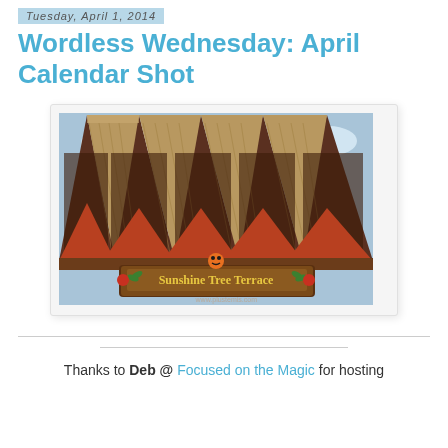Tuesday, April 1, 2014
Wordless Wednesday: April Calendar Shot
[Figure (photo): Photo of Sunshine Tree Terrace sign at what appears to be Disney World, showing the iconic tiki-style roof with pointed thatched peaks and the restaurant's decorative sign below.]
Thanks to Deb @ Focused on the Magic  for hosting